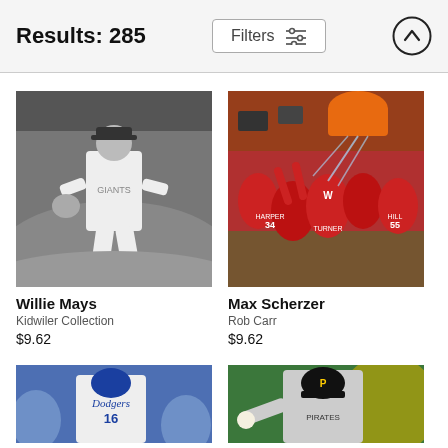Results: 285
Filters
[Figure (photo): Black and white photo of Willie Mays in Giants uniform fielding position]
Willie Mays
Kidwiler Collection
$9.62
[Figure (photo): Color photo of Max Scherzer celebration with Washington Nationals teammates in red uniforms, players being doused with liquid, including Harper #34, Turner, Hill #55]
Max Scherzer
Rob Carr
$9.62
[Figure (photo): Color photo of Dodgers player in white uniform partially visible]
[Figure (photo): Color photo of Pirates pitcher in gray uniform mid-pitch]